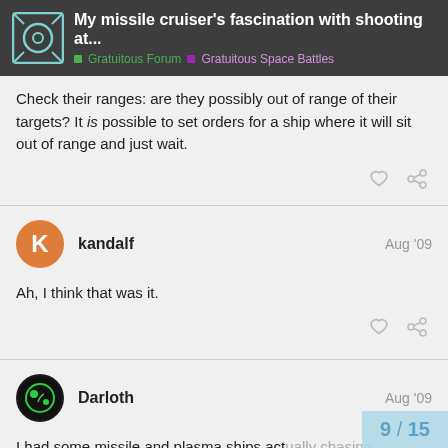My missile cruiser's fascination with shooting at... | Gratuitous Forum | Gratuitous Space Battles
Check their ranges: are they possibly out of range of their targets? It is possible to set orders for a ship where it will sit out of range and just wait.
kandalf  Aug '09
Ah, I think that was it.
Darloth  Aug '09
I had some missile and plasma ships actually chasing fighters just recently, even with a perfect cruiser hiding in a corner out of range.
9 / 15